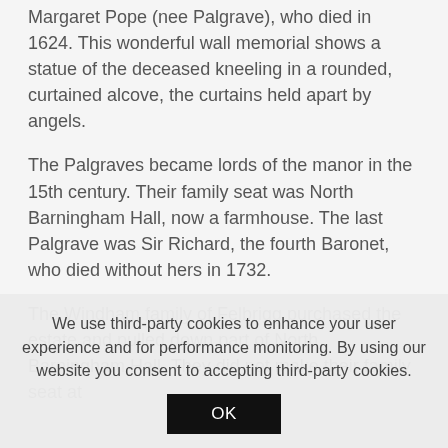Margaret Pope (nee Palgrave), who died in 1624. This wonderful wall memorial shows a statue of the deceased kneeling in a rounded, curtained alcove, the curtains held apart by angels.
The Palgraves became lords of the manor in the 15th century. Their family seat was North Barningham Hall, now a farmhouse. The last Palgrave was Sir Richard, the fourth Baronet, who died without hers in 1732.
The Windham family of Felbrigg purchased the estate and pulled down part of North Barningham Hall. They did not make their family seat at...
We use third-party cookies to enhance your user experience and for performance monitoring. By using our website you consent to accepting third-party cookies.
OK